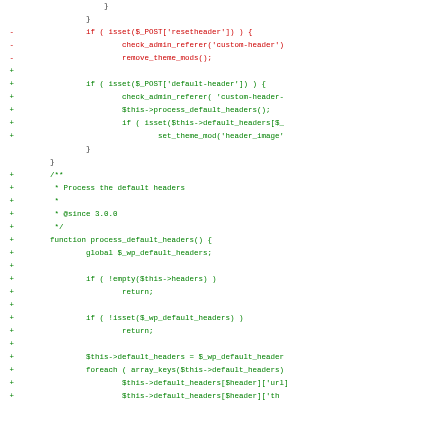[Figure (screenshot): A code diff view showing PHP code changes. Lines prefixed with '-' are shown in red (removed), lines with '+' are shown in green (added), and neutral lines have no prefix. The diff shows changes to header processing logic in a WordPress-related PHP file, including removal of resetheader block and addition of default-header block, plus a new process_default_headers() function.]